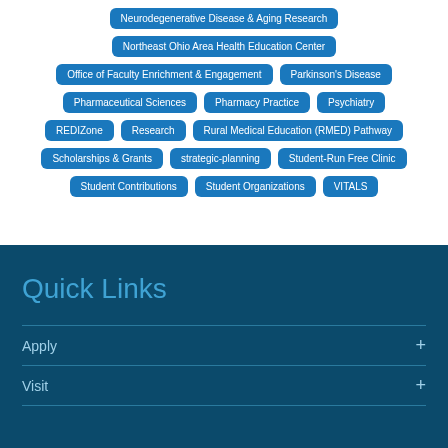Neurodegenerative Disease & Aging Research
Northeast Ohio Area Health Education Center
Office of Faculty Enrichment & Engagement
Parkinson's Disease
Pharmaceutical Sciences
Pharmacy Practice
Psychiatry
REDIZone
Research
Rural Medical Education (RMED) Pathway
Scholarships & Grants
strategic-planning
Student-Run Free Clinic
Student Contributions
Student Organizations
VITALS
Quick Links
Apply
Visit